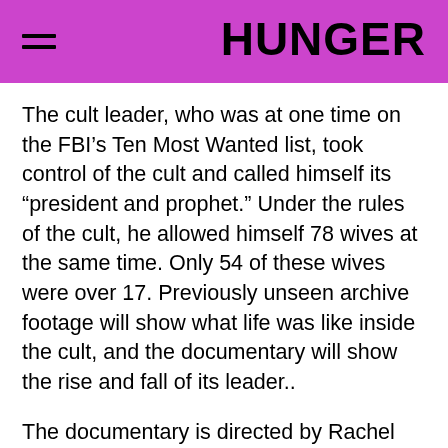HUNGER
The cult leader, who was at one time on the FBI’s Ten Most Wanted list, took control of the cult and called himself its “president and prophet.” Under the rules of the cult, he allowed himself 78 wives at the same time. Only 54 of these wives were over 17. Previously unseen archive footage will show what life was like inside the cult, and the documentary will show the rise and fall of its leader..
The documentary is directed by Rachel Dretzin (Who Killed Malcolm X) and captures how Warren impacted the community, and the dozens of women he married. Jeffs’ story will feature heavily in Netflix’s new series however,